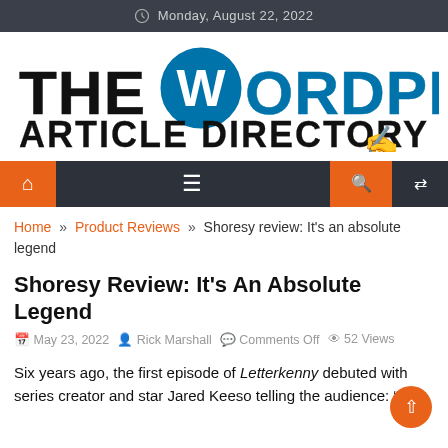Monday, August 22, 2022
[Figure (logo): The WordPress Article Directory logo with WordPress W icon and hand writing illustration]
[Figure (infographic): Navigation bar with home icon, hamburger menu, search icon, and shuffle icon in orange and dark theme]
Home » Product Reviews » Shoresy review: It's an absolute legend
Shoresy Review: It's An Absolute Legend
May 23, 2022  Rick Marshall  Comments Off  52 Views
Six years ago, the first episode of Letterkenny debuted with series creator and star Jared Keeso telling the audience: "A